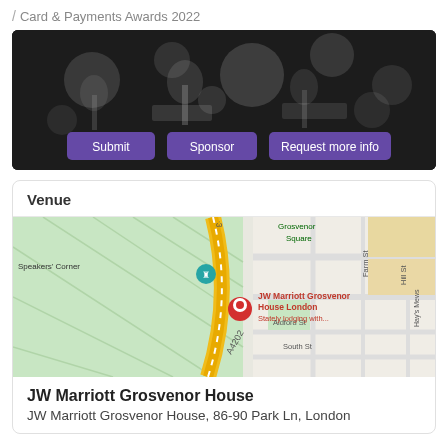/ Card & Payments Awards 2022
[Figure (photo): Black and white photo of award trophies with bokeh background. Three purple buttons overlay the image: Submit, Sponsor, Request more info.]
Venue
[Figure (map): Google Maps screenshot showing JW Marriott Grosvenor House London location near Speakers' Corner, Grosvenor Square, with streets including Aldford St, South St, Farm St, Hill St, Hay's Mews, and road A4202.]
JW Marriott Grosvenor House
JW Marriott Grosvenor House, 86-90 Park Ln, London